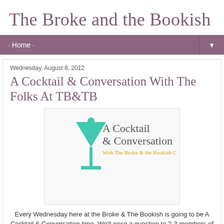The Broke and the Bookish
· Home ·
Wednesday, August 8, 2012
A Cocktail & Conversation With The Folks At TB&TB
[Figure (logo): A Cocktail & Conversation logo with a teal martini glass and text reading 'A Cocktail & Conversation With The Broke & the Bookish Crew']
Every Wednesday here at the Broke & The Bookish is going to be A Cocktail & Conversation time. We'll pose a question to 2-3 members of TB&TB crew about books, life, music, etc